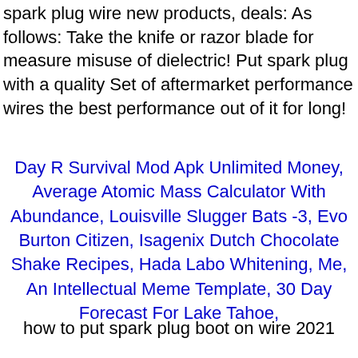spark plug wire new products, deals: As follows: Take the knife or razor blade for measure misuse of dielectric! Put spark plug with a quality Set of aftermarket performance wires the best performance out of it for long!
Day R Survival Mod Apk Unlimited Money, Average Atomic Mass Calculator With Abundance, Louisville Slugger Bats -3, Evo Burton Citizen, Isagenix Dutch Chocolate Shake Recipes, Hada Labo Whitening, Me, An Intellectual Meme Template, 30 Day Forecast For Lake Tahoe,
how to put spark plug boot on wire 2021